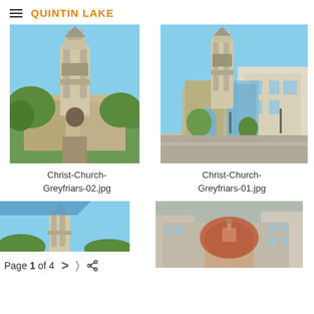QUINTIN LAKE
[Figure (photo): Christ Church Greyfriars exterior with tall stone tower against blue sky, view from garden path]
Christ-Church-Greyfriars-02.jpg
[Figure (photo): Christ Church Greyfriars exterior with tower, modern buildings in background, wide street view]
Christ-Church-Greyfriars-01.jpg
[Figure (photo): Partial view of church with blue sky - third thumbnail partially visible]
[Figure (photo): Church with domed round structure surrounded by larger buildings - fourth thumbnail partially visible]
Page 1 of 4